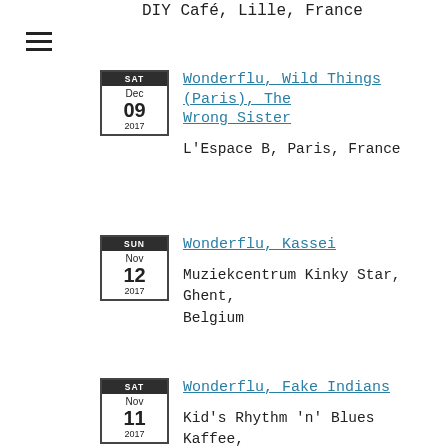DIY Café, Lille, France
SAT Dec 09 2017 — Wonderflu, Wild Things (Paris), The Wrong Sister — L'Espace B, Paris, France
SUN Nov 12 2017 — Wonderflu, Kassei — Muziekcentrum Kinky Star, Ghent, Belgium
SAT Nov 11 2017 — Wonderflu, Fake Indians — Kid's Rhythm 'n' Blues Kaffee,